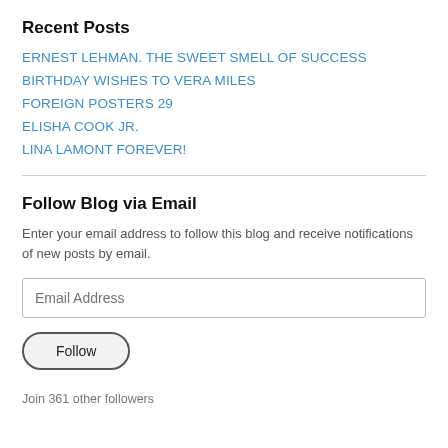Recent Posts
ERNEST LEHMAN. THE SWEET SMELL OF SUCCESS
BIRTHDAY WISHES TO VERA MILES
FOREIGN POSTERS 29
ELISHA COOK JR.
LINA LAMONT FOREVER!
Follow Blog via Email
Enter your email address to follow this blog and receive notifications of new posts by email.
Join 361 other followers